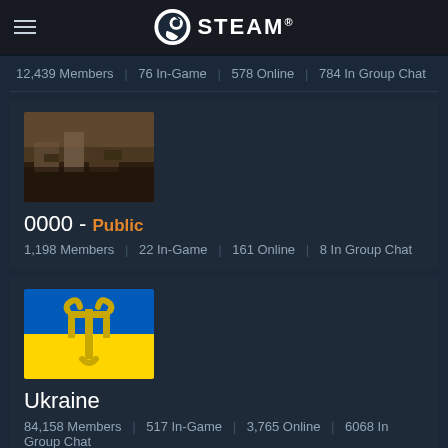STEAM
12,439 Members | 76 In-Game | 578 Online | 784 In Group Chat
[Figure (photo): Small thumbnail image showing a scene with stone/ruins in warm tones (appears to be a game screenshot)]
0000 - Public
1,198 Members | 22 In-Game | 161 Online | 8 In Group Chat
[Figure (illustration): Ukraine group avatar showing the Ukrainian flag (blue top half, yellow bottom half) with the Ukrainian trident coat of arms in the center]
Ukraine
84,158 Members | 517 In-Game | 3,765 Online | 6068 In Group Chat